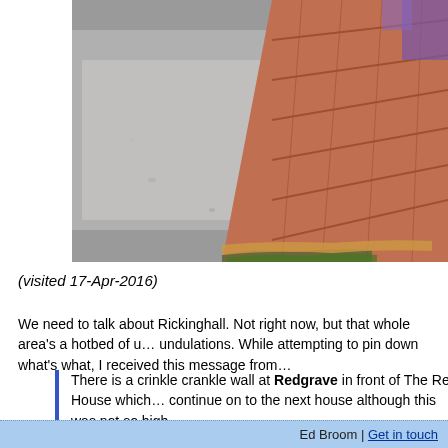[Figure (photo): Close-up photo of a pavement/sidewalk edge meeting a brick wall, showing grass/moss at the join. The left portion shows grey concrete pavement, the right shows red/orange brick wall at an angle.]
(visited 17-Apr-2016)
We need to talk about Rickinghall. Not right now, but that whole area's a hotbed of u... undulations. While attempting to pin down what's what, I received this message from...
There is a crinkle crankle wall at Redgrave in front of The Red House which... continue on to the next house although this was not so high.
With a brief detour to revisit impressive Palgrave, we passed Cross Keys to find the... The Street. Outside is a dead straight wall which keeps going to the more modern pr... door, and here we find the teensiest hint of a crinkle. No crankle, though.
One further house along, however, is a two house terrace including Juniper Cottage.... along the full length is a waist-high crinkle-crankle of a similar height to Shotley. Ta... it's ticked off.
[Figure (logo): Small green square icon with white 'fr' text, likely a social sharing button]
Ed Broom | Get in touch